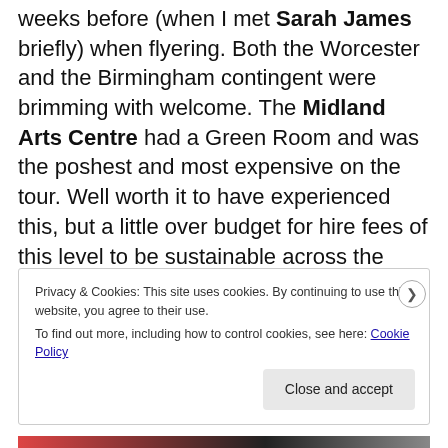weeks before (when I met Sarah James briefly) when flyering. Both the Worcester and the Birmingham contingent were brimming with welcome. The Midland Arts Centre had a Green Room and was the poshest and most expensive on the tour. Well worth it to have experienced this, but a little over budget for hire fees of this level to be sustainable across the tour.
Privacy & Cookies: This site uses cookies. By continuing to use this website, you agree to their use. To find out more, including how to control cookies, see here: Cookie Policy